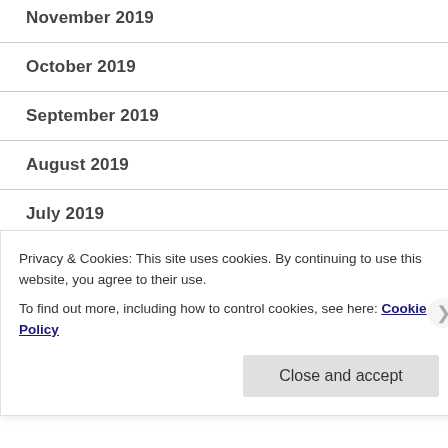November 2019
October 2019
September 2019
August 2019
July 2019
June 2019
May 2019
April 2019
Privacy & Cookies: This site uses cookies. By continuing to use this website, you agree to their use.
To find out more, including how to control cookies, see here: Cookie Policy
Close and accept